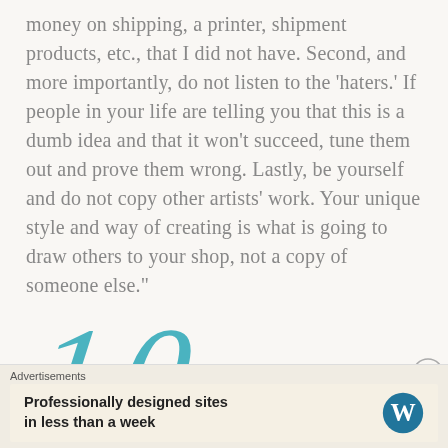money on shipping, a printer, shipment products, etc., that I did not have. Second, and more importantly, do not listen to the 'haters.' If people in your life are telling you that this is a dumb idea and that it won't succeed, tune them out and prove them wrong. Lastly, be yourself and do not copy other artists' work. Your unique style and way of creating is what is going to draw others to your shop, not a copy of someone else."
[Figure (other): Large decorative italic number '10' in teal/blue color]
Advertisements
Professionally designed sites in less than a week